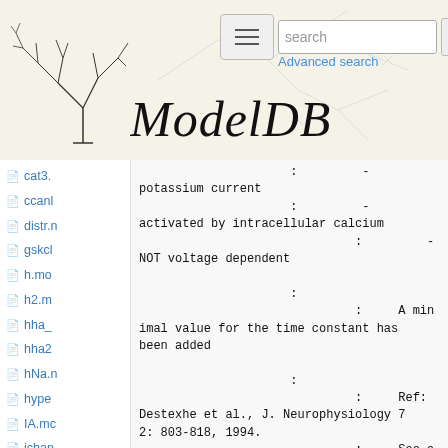[Figure (screenshot): ModelDB website header with neural tree logo on left, hamburger menu button, search bar with 'search' placeholder, magnifier button, and 'Advanced search' link. Background shows neural network diagram lines. Large italic 'ModelDB' text in center-left of banner.]
cat3.
ccanl
distr.n
gskcl
h.mo
h2.m
hha_
hha2
hNa.n
hype
IA.mc
ichan
Ih.mc
kad.n
kahp.
:         -
potassium current
                              :         -
activated by intracellular calcium
                                        :         -
NOT voltage dependent

                              :
                                        :     A minimal value for the time constant has been added

                              :
                                        :     Ref: Destexhe et al., J. Neurophysiology 72: 803-818, 1994.
                                        :     See also: http://www.cnl.salk.edu/~alain , http://cns.fmed.ulaval.ca
                                        :     modifications by Yiota Poirazi 2001 (poirazi@LNC.usc.edu)